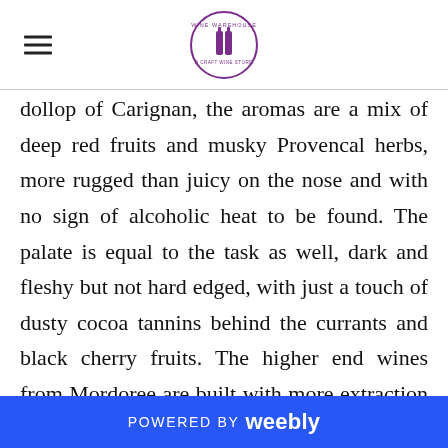Wine Warehouse logo header
dollop of Carignan, the aromas are a mix of deep red fruits and musky Provencal herbs, more rugged than juicy on the nose and with no sign of alcoholic heat to be found. The palate is equal to the task as well, dark and fleshy but not hard edged, with just a touch of dusty cocoa tannins behind the currants and black cherry fruits. The higher end wines from Mordoree are built with more extraction and time in barrel for the most part to have a more extended life in the bottle, but this drinks nicely almost from the first pour, needing only a little bit of air to get the full
POWERED BY weebly